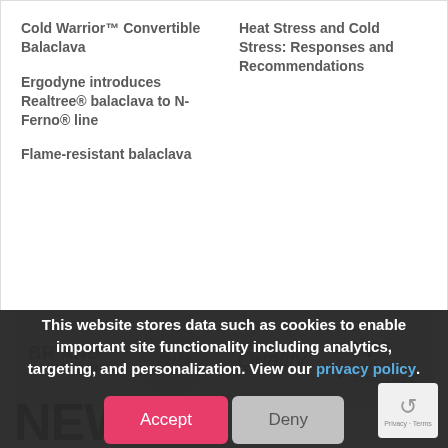Cold Warrior™ Convertible Balaclava
Heat Stress and Cold Stress: Responses and Recommendations
Ergodyne introduces Realtree® balaclava to N-Ferno® line
Flame-resistant balaclava
[Figure (screenshot): Banner showing logos of Brand Packaging, nib (circle logo), Quality, snips, and Packaging Strategies publications, with NEWS watermark below]
This website stores data such as cookies to enable important site functionality including analytics, targeting, and personalization. View our privacy policy.
Accept  Deny